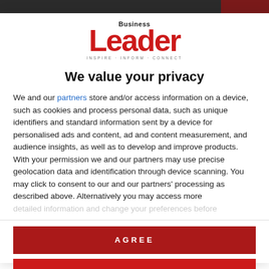[Figure (logo): Business Leader magazine logo with red 'Leader' text and tagline 'INSPIRE · INFORM · CONNECT']
We value your privacy
We and our partners store and/or access information on a device, such as cookies and process personal data, such as unique identifiers and standard information sent by a device for personalised ads and content, ad and content measurement, and audience insights, as well as to develop and improve products. With your permission we and our partners may use precise geolocation data and identification through device scanning. You may click to consent to our and our partners' processing as described above. Alternatively you may access more detailed information and change your preferences before consenting
AGREE
MORE OPTIONS
The reason you hire local talent in the first place is so